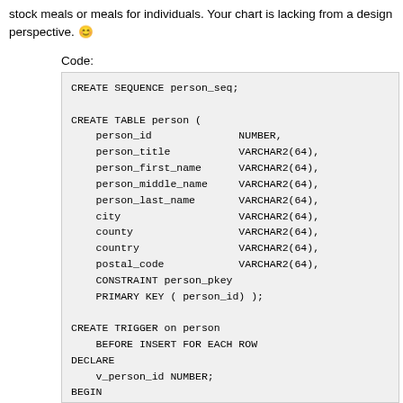stock meals or meals for individuals. Your chart is lacking from a design perspective. 🙂
Code: